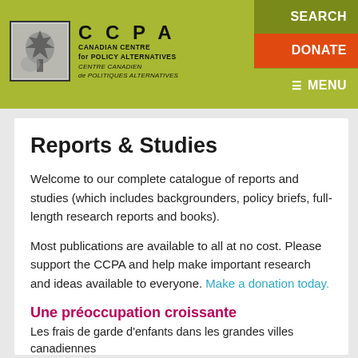[Figure (logo): CCPA Canadian Centre for Policy Alternatives / Centre Canadien de Politiques Alternatives logo with maple leaf graphic, green header bar with SEARCH, DONATE, MENU navigation buttons]
Reports & Studies
Welcome to our complete catalogue of reports and studies (which includes backgrounders, policy briefs, full-length research reports and books).
Most publications are available to all at no cost. Please support the CCPA and help make important research and ideas available to everyone. Make a donation today.
Une préoccupation croissante
Les frais de garde d'enfants dans les grandes villes canadiennes